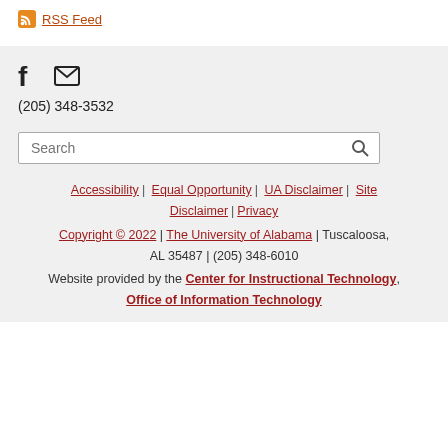RSS Feed
Facebook | Email icons
(205) 348-3532
Search
Accessibility | Equal Opportunity | UA Disclaimer | Site Disclaimer | Privacy
Copyright © 2022 | The University of Alabama | Tuscaloosa, AL 35487 | (205) 348-6010
Website provided by the Center for Instructional Technology, Office of Information Technology